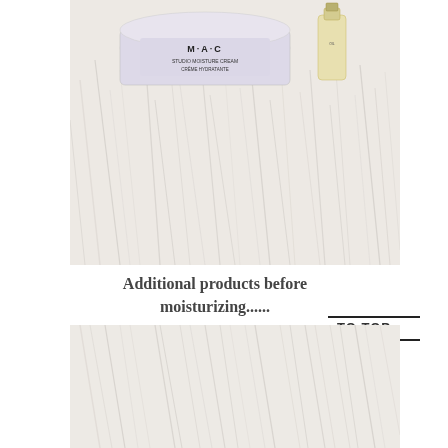[Figure (photo): Top-down photo of MAC Studio Moisture Cream jar and a small glass bottle on a white fluffy fur surface]
Additional products before moisturizing......
TO TOP
[Figure (photo): Close-up photo of a white fluffy fur surface, partial bottom image]